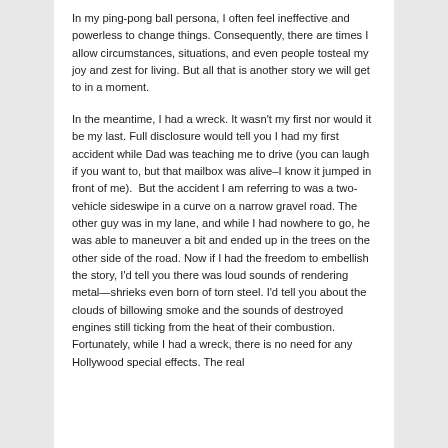In my ping-pong ball persona, I often feel ineffective and powerless to change things. Consequently, there are times I allow circumstances, situations, and even people tosteal my joy and zest for living. But all that is another story we will get to in a moment.
In the meantime, I had a wreck. It wasn't my first nor would it be my last. Full disclosure would tell you I had my first accident while Dad was teaching me to drive (you can laugh if you want to, but that mailbox was alive–I know it jumped in front of me).  But the accident I am referring to was a two-vehicle sideswipe in a curve on a narrow gravel road. The other guy was in my lane, and while I had nowhere to go, he was able to maneuver a bit and ended up in the trees on the other side of the road. Now if I had the freedom to embellish the story, I'd tell you there was loud sounds of rendering metal—shrieks even born of torn steel. I'd tell you about the clouds of billowing smoke and the sounds of destroyed engines still ticking from the heat of their combustion. Fortunately, while I had a wreck, there is no need for any Hollywood special effects. The real